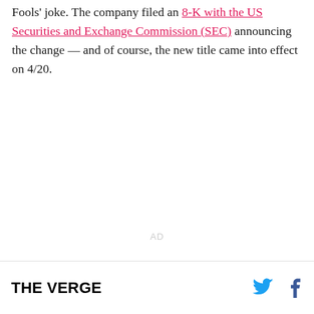Fools' joke. The company filed an 8-K with the US Securities and Exchange Commission (SEC) announcing the change — and of course, the new title came into effect on 4/20.
AD
THE VERGE